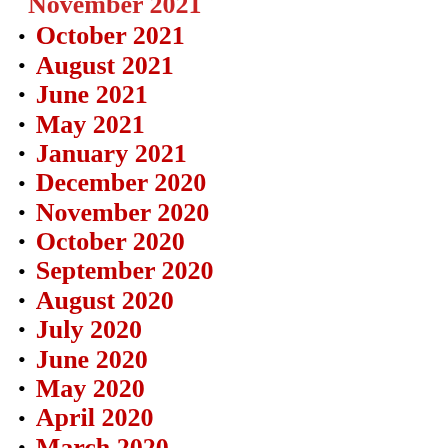November 2021
October 2021
August 2021
June 2021
May 2021
January 2021
December 2020
November 2020
October 2020
September 2020
August 2020
July 2020
June 2020
May 2020
April 2020
March 2020
February 2020